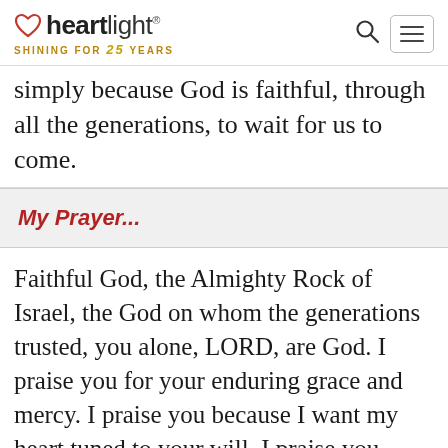heartlight® SHINING FOR 25 YEARS
simply because God is faithful, through all the generations, to wait for us to come.
My Prayer...
Faithful God, the Almighty Rock of Israel, the God on whom the generations trusted, you alone, LORD, are God. I praise you for your enduring grace and mercy. I praise you because I want my heart tuned to your will. I praise you, because I want to prepare for my longest lifetime, the one in your presence. I